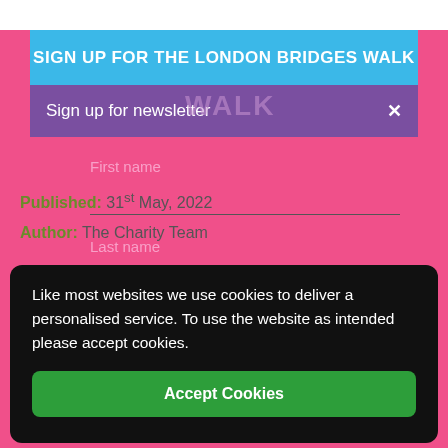SIGN UP FOR THE LONDON BRIDGES WALK
Sign up for newsletter  ×
First name
Published: 31st May, 2022
Author: The Charity Team
Last name
Like most websites we use cookies to deliver a personalised service. To use the website as intended please accept cookies.
Accept Cookies